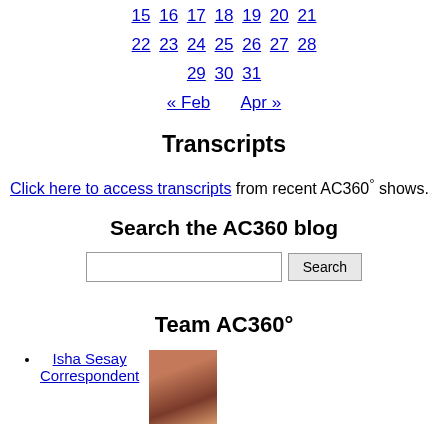15 16 17 18 19 20 21
22 23 24 25 26 27 28
29 30 31
« Feb   Apr »
Transcripts
Click here to access transcripts from recent AC360° shows.
Search the AC360 blog
[Figure (other): Search input box with Search button]
Team AC360°
Isha Sesay Correspondent